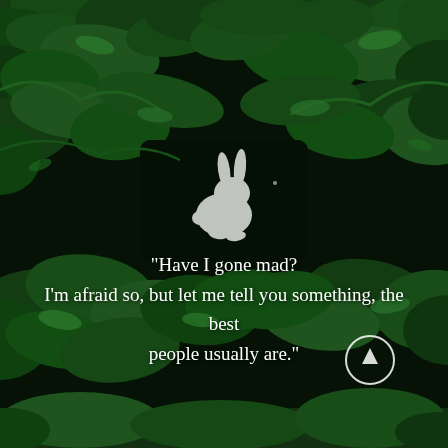[Figure (illustration): Dark green conifer forest background with dense overlapping branches. A small white rabbit silhouette sits in the center-upper area of the image against a dark background between the branches.]
“Have I gone mad? I’m afraid so, but let me tell you something, the best people usually are.”